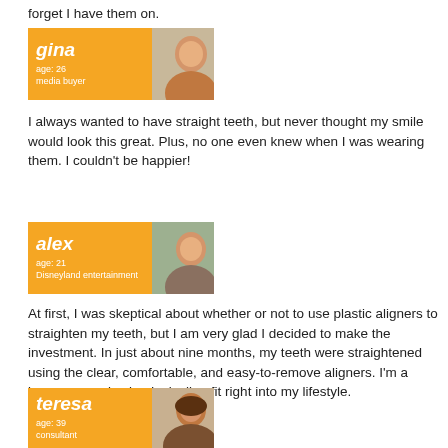forget I have them on.
[Figure (photo): Profile card for Gina, age 26, media buyer, with photo of a young woman smiling]
I always wanted to have straight teeth, but never thought my smile would look this great. Plus, no one even knew when I was wearing them. I couldn't be happier!
[Figure (photo): Profile card for Alex, age 21, Disneyland entertainment, with photo of a young man smiling]
At first, I was skeptical about whether or not to use plastic aligners to straighten my teeth, but I am very glad I decided to make the investment. In just about nine months, my teeth were straightened using the clear, comfortable, and easy-to-remove aligners. I'm a busy guy, and using Invisalign fit right into my lifestyle.
[Figure (photo): Profile card for Teresa, age 39, consultant, with photo of a woman with dark hair smiling]